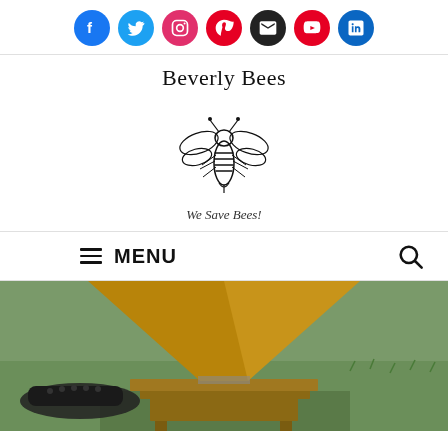[Figure (logo): Social media icons row: Facebook (blue), Twitter (light blue), Instagram (pink/red), Pinterest (red), Email (black), YouTube (red), LinkedIn (blue)]
[Figure (logo): Beverly Bees logo with bee illustration and tagline 'We Save Bees!']
MENU
[Figure (photo): Outdoor photograph showing a cardboard funnel/cone placed on top of a wooden board over a beehive box, set on grass with person's feet visible in background]